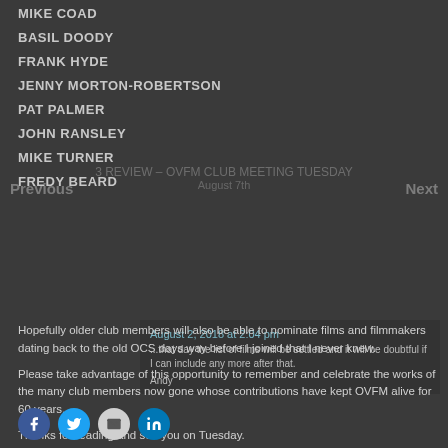MIKE COAD
BASIL DOODY
FRANK HYDE
JENNY MORTON-ROBERTSON
PAT PALMER
JOHN RANSLEY
MIKE TURNER
FREDY BEARD
Hopefully older club members will also be able to nominate films and filmmakers dating back to the old OCS days way before I joined that I never knew.
Please take advantage of this opportunity to remember and celebrate the works of the many club members now gone whose contributions have kept OVFM alive for 60 years.
Thanks for reading and see you on Tuesday.
Share this: